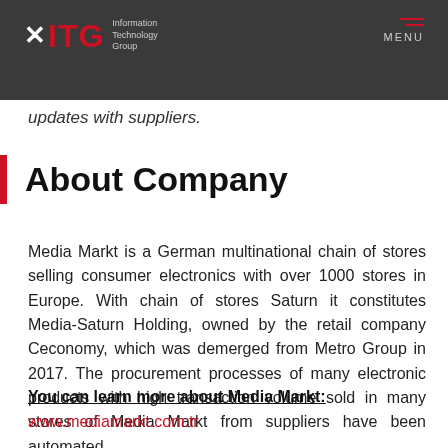ITG Information Technology Group | MENU
updates with suppliers.
About Company
Media Markt is a German multinational chain of stores selling consumer electronics with over 1000 stores in Europe. With chain of stores Saturn it constitutes Media-Saturn Holding, owned by the retail company Ceconomy, which was demerged from Metro Group in 2017. The procurement processes of many electronic products with high transaction volume sold in many stores of Media Markt from suppliers have been automated.
You can learn more about Media Markt:
www.mediamarkt.com.tr